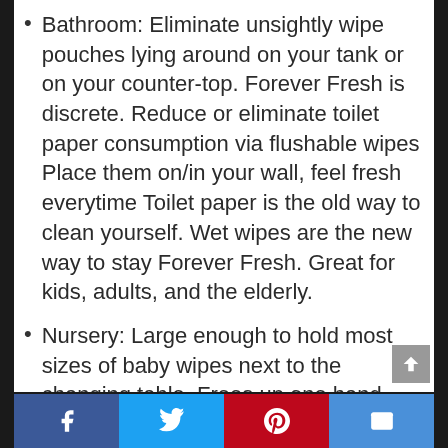Bathroom: Eliminate unsightly wipe pouches lying around on your tank or on your counter-top. Forever Fresh is discrete. Reduce or eliminate toilet paper consumption via flushable wipes Place them on/in your wall, feel fresh everytime Toilet paper is the old way to clean yourself. Wet wipes are the new way to stay Forever Fresh. Great for kids, adults, and the elderly.
Nursery: Large enough to hold most sizes of baby wipes next to the changing table. Frees up one hand